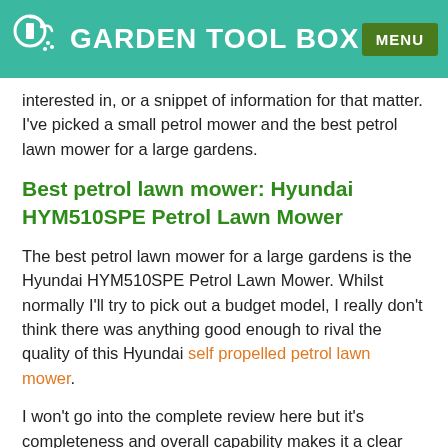GARDEN TOOL BOX
interested in, or a snippet of information for that matter. I've picked a small petrol mower and the best petrol lawn mower for a large gardens.
Best petrol lawn mower: Hyundai HYM510SPE Petrol Lawn Mower
The best petrol lawn mower for a large gardens is the Hyundai HYM510SPE Petrol Lawn Mower. Whilst normally I'll try to pick out a budget model, I really don't think there was anything good enough to rival the quality of this Hyundai self propelled petrol lawn mower.
I won't go into the complete review here but it's completeness and overall capability makes it a clear favourite for best petrol mower overall too. From the highly fuel efficient four stroke engine that's really reliable